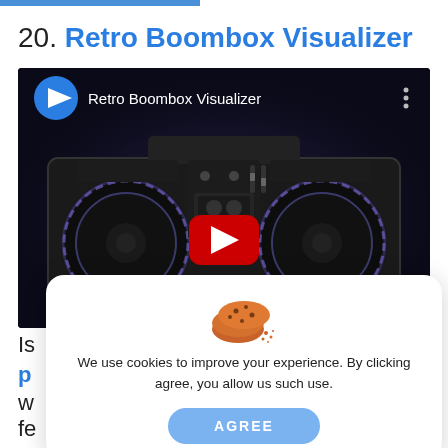20. Retro Boombox Visualizer
[Figure (screenshot): YouTube video thumbnail showing a retro boombox 3D render with a YouTube play button in the center. Title overlay reads 'Retro Boombox Visualizer'. Small play icon in top-left corner.]
[Figure (photo): Cookie consent popup overlay with cookie emoji image, text 'We use cookies to improve your experience. By clicking agree, you allow us such use.' and an AGREE button]
Is ic
p ic
w
fe d